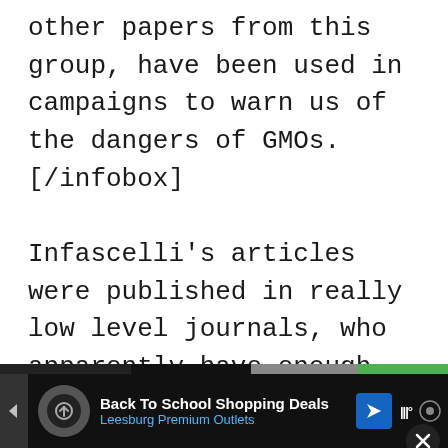other papers from this group, have been used in campaigns to warn us of the dangers of GMOs.[/infobox]
Infascelli’s articles were published in really low level journals, who apparently have enough integrity that they do have a minimum standard for
Don’t miss each new article!
Email Address…